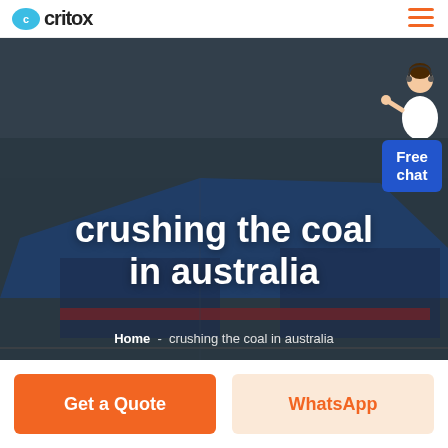critox
[Figure (screenshot): Aerial view of an industrial factory facility with blue rooftops, used as a hero background image. A customer service representative figure and a blue 'Free chat' button overlay are in the upper right corner.]
crushing the coal in australia
Home  -  crushing the coal in australia
Get a Quote
WhatsApp